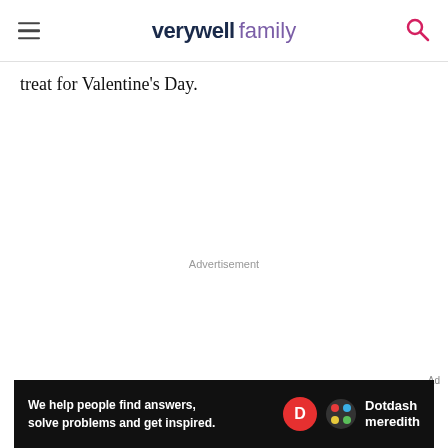verywell family
treat for Valentine's Day.
Advertisement
[Figure (other): Dotdash Meredith advertisement banner: 'We help people find answers, solve problems and get inspired.' with Dotdash Meredith logo.]